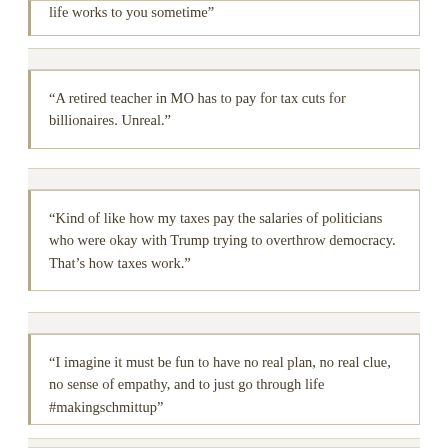life works to you sometime”
“A retired teacher in MO has to pay for tax cuts for billionaires. Unreal.”
“Kind of like how my taxes pay the salaries of politicians who were okay with Trump trying to overthrow democracy. That’s how taxes work.”
“I imagine it must be fun to have no real plan, no real clue, no sense of empathy, and to just go through life #makingschmittup”